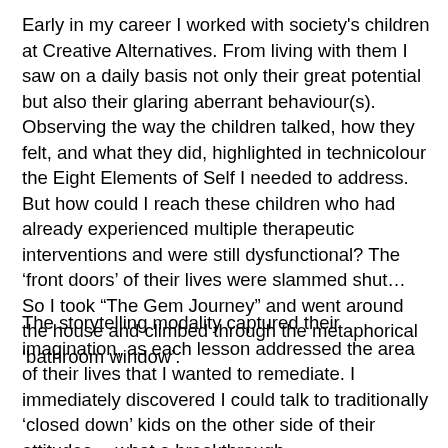Early in my career I worked with society's children at Creative Alternatives. From living with them I saw on a daily basis not only their great potential but also their glaring aberrant behaviour(s). Observing the way the children talked, how they felt, and what they did, highlighted in technicolour the Eight Elements of Self I needed to address. But how could I reach these children who had already experienced multiple therapeutic interventions and were still dysfunctional? The ‘front doors’ of their lives were slammed shut… So I took “The Gem Journey” and went around the house and climbed through the metaphorical ‘bathroom window’.
The storytelling modality captured their imagination, as each lesson addressed the area of their lives that I wanted to remediate. I immediately discovered I could talk to traditionally ‘closed down’ kids on the other side of their attitudes… what a breakthrough